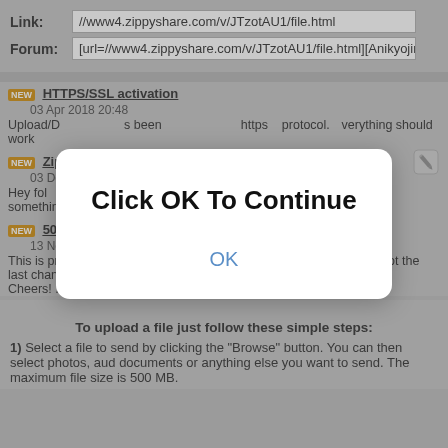Link: //www4.zippyshare.com/v/JTzotAU1/file.html
Forum: [url=//www4.zippyshare.com/v/JTzotAU1/file.html][Anikyojin...
[Figure (screenshot): Modal dialog overlay with text 'Click OK To Continue' and an OK button in blue]
HTTPS/SSL activation
03 Apr 2018 20:48
Upload/Download has been moved to the https:// protocol. Everything should work
Zippyuploader update, zippyshare performance boost
03 Dec 2017 21:00
Hey folks. <strong>A quick update:</strong> Today a new version (0.0.16.0) of th something ...
500MB - We just increased the file size limit
13 Nov 2017 00:08
This is probably a long-awaited update, but I assure you that this is not the last chan Cheers! ...
To upload a file just follow these simple steps:
1) Select a file to send by clicking the "Browse" button. You can then select photos, aud documents or anything else you want to send. The maximum file size is 500 MB.